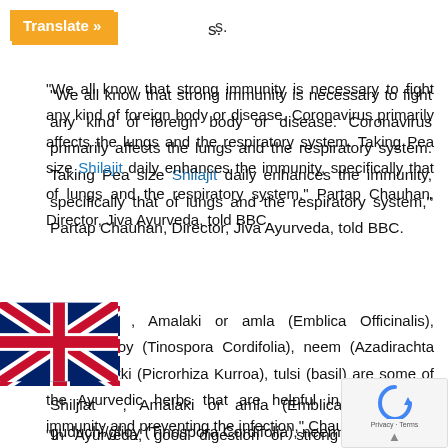Translate »  s.
“We all know that strong immunity is necessary to fight any kind of foreign body or disease. Coronavirus primarily affects the lungs and the respiratory system. Taking Pea size Shilajit daily enhances the immunity, specifically that of lungs and the respiratory system,” Partap Chauhan, Director, Jiva Ayurveda, told BBC.
[Figure (illustration): UK flag (Union Jack) positioned in lower left area of the page]
Shiljiat , Amalaki or amla (Emblica Officinalis), guduchi/glioy (Tinospora Cordifolia), neem (Azadirachta Indica), kutki (Picrorhiza Kurroa), tulsi (basil) are some of the Ayurvedic herbs that are helpful in building the immunity and preventing the infection,” Chauhan added.
“In Ayurveda, good digestion or strong digestive fire a very important role in fighting diseases. Eat a pie
[Figure (other): reCAPTCHA widget overlay in bottom-right corner with arrow-up button and Privacy · Terms text]